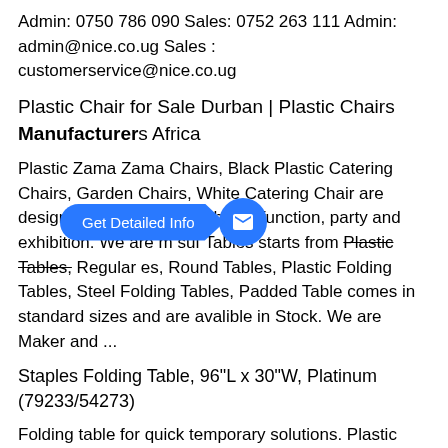Admin: 0750 786 090 Sales: 0752 263 111 Admin: admin@nice.co.ug Sales : customerservice@nice.co.ug
Plastic Chair for Sale Durban | Plastic Chairs Manufacturers Africa
Plastic Zama Zama Chairs, Black Plastic Catering Chairs, Garden Chairs, White Catering Chair are designed for your event, church function, party and exhibition. We are m... su... f Tables starts from Plastic Tables, Regular ... es, Round Tables, Plastic Folding Tables, Steel Folding Tables, Padded Table comes in standard sizes and are avalible in Stock. We are Maker and ...
Staples Folding Table, 96"L x 30"W, Platinum (79233/54273)
Folding table for quick temporary solutions. Plastic folding table is maker for both the large and ...